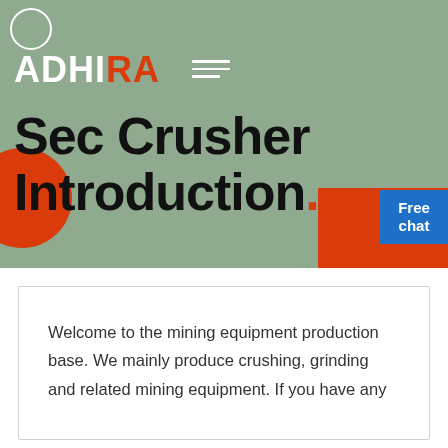[Figure (illustration): ADHIRA logo with hamburger menu lines on a sage green hero banner background. Red circle on left, red rectangle on bottom right, decorative white outline circle top-left corner.]
Sec Crusher Introduction.
[Figure (illustration): Free chat button (blue rectangle) with a person illustration partially visible behind it on the right side of the hero banner.]
Welcome to the mining equipment production base. We mainly produce crushing, grinding and related mining equipment. If you have any